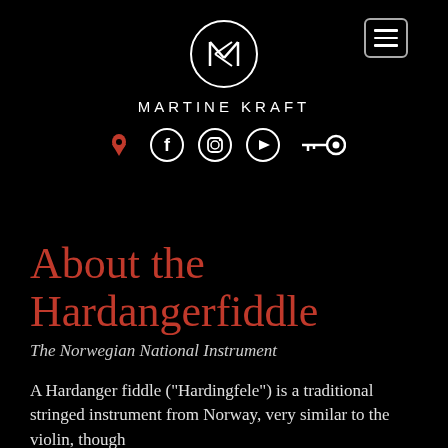[Figure (logo): Martine Kraft logo: stylized MK monogram inside a circle, white on black, with hamburger menu button top right]
MARTINE KRAFT
[Figure (infographic): Row of social media icons: location pin (red), Facebook, Instagram, YouTube circles, and a key icon — all white on black]
About the Hardangerfiddle
The Norwegian National Instrument
A Hardanger fiddle ("Hardingfele") is a traditional stringed instrument from Norway, very similar to the violin, though